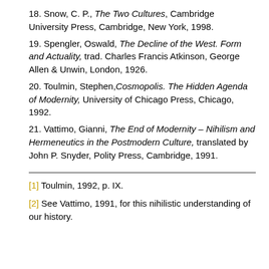18. Snow, C. P., The Two Cultures, Cambridge University Press, Cambridge, New York, 1998.
19. Spengler, Oswald, The Decline of the West. Form and Actuality, trad. Charles Francis Atkinson, George Allen & Unwin, London, 1926.
20. Toulmin, Stephen, Cosmopolis. The Hidden Agenda of Modernity, University of Chicago Press, Chicago, 1992.
21. Vattimo, Gianni, The End of Modernity – Nihilism and Hermeneutics in the Postmodern Culture, translated by John P. Snyder, Polity Press, Cambridge, 1991.
[1] Toulmin, 1992, p. IX.
[2] See Vattimo, 1991, for this nihilistic understanding of our history.